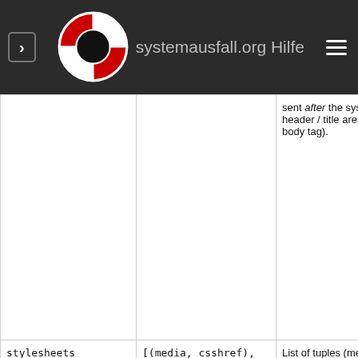systemausfall.org Hilfe
| Name | Default | Description |
| --- | --- | --- |
|  |  | sent after the system header / title area (and body tag). |
| stylesheets | [(media, csshref), ...] | List of tuples (media, csshref) to insert after theme css, before user css. |
| html_head | "" | Additional <HEAD> tags for all pages |